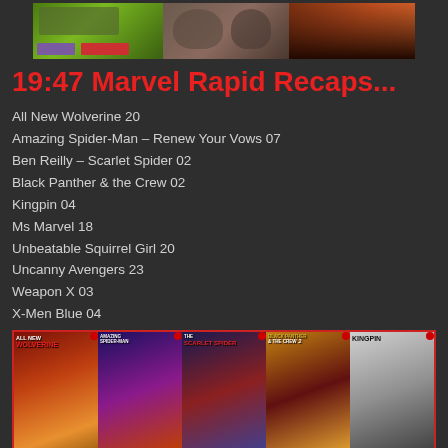[Figure (photo): Top banner with three comic/toy images side by side]
19:47 Marvel Rapid Recaps...
All New Wolverine 20
Amazing Spider-Man – Renew Your Vows 07
Ben Reilly – Scarlet Spider 02
Black Panther & the Crew 02
Kingpin 04
Ms Marvel 18
Unbeatable Squirrel Girl 20
Uncanny Avengers 23
Weapon X 03
X-Men Blue 04
[Figure (photo): Bottom strip of Marvel comic book covers: All New Wolverine, Amazing Spider-Man, Ben Reilly Scarlet Spider, Black Panther & the Crew 2, Kingpin]